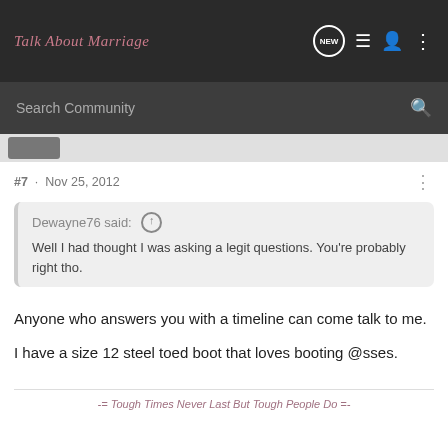Talk About Marriage
Search Community
#7 · Nov 25, 2012
Dewayne76 said: ↑
Well I had thought I was asking a legit questions. You're probably right tho.
Anyone who answers you with a timeline can come talk to me.

I have a size 12 steel toed boot that loves booting @sses.
-= Tough Times Never Last But Tough People Do =-